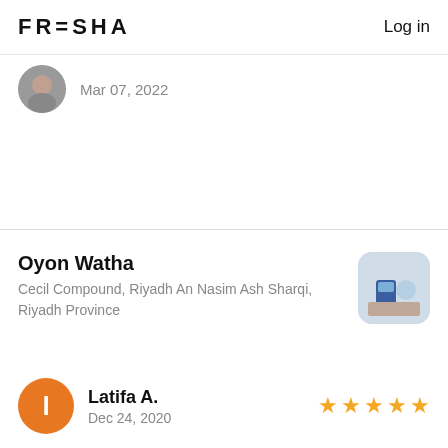FRESHA  Log in
Mar 07, 2022
Oyon Watha
Cecil Compound, Riyadh An Nasim Ash Sharqi, Riyadh Province
Latifa A.
Dec 24, 2020